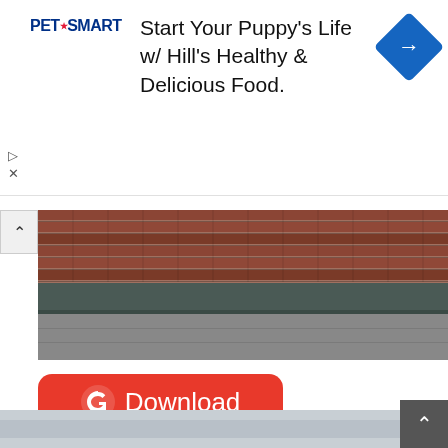[Figure (screenshot): PetSmart advertisement banner: 'Start Your Puppy's Life w/ Hill's Healthy & Delicious Food.' with PetSmart logo and blue diamond arrow icon]
[Figure (photo): Photograph of brick wall base with stone steps and sidewalk, partially visible]
[Figure (screenshot): Red Grammarly Download button with G logo]
40. Free Cool T-Shirt Mock-Up For Branding
[Figure (photo): Bottom portion of an image, appears to be a light gray surface, partially visible at bottom of page]